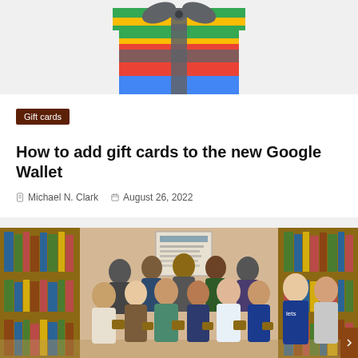[Figure (illustration): Google gift card illustration showing a colorful gift box with green, yellow, red, and blue sections and a gray bow on top]
Gift cards
How to add gift cards to the new Google Wallet
Michael N. Clark   August 26, 2022
[Figure (photo): Group photo of approximately 20 people standing in front of library bookshelves, many holding small items, in a school or public library setting]